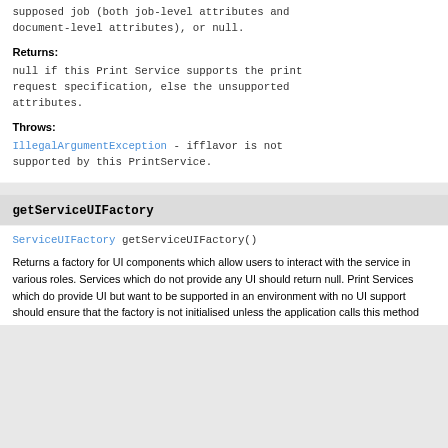supposed job (both job-level attributes and document-level attributes), or null.
Returns:
null if this Print Service supports the print request specification, else the unsupported attributes.
Throws:
IllegalArgumentException - ifflavor is not supported by this PrintService.
getServiceUIFactory
ServiceUIFactory getServiceUIFactory()
Returns a factory for UI components which allow users to interact with the service in various roles. Services which do not provide any UI should return null. Print Services which do provide UI but want to be supported in an environment with no UI support should ensure that the factory is not initialised unless the application calls this method